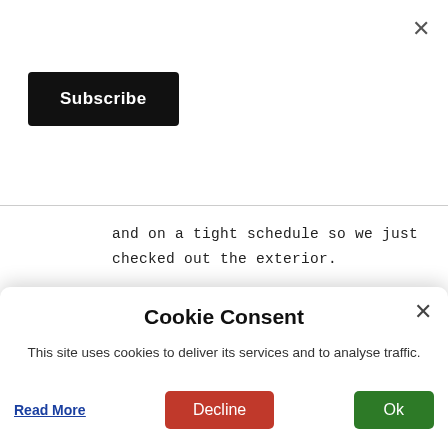×
Subscribe
and on a tight schedule so we just checked out the exterior.
REPLY
Christopher Mitchell
July 12, 2017 at 1:55 AM
Nice job covering this! I actually went there myself a while
Cookie Consent
This site uses cookies to deliver its services and to analyse traffic.
Read More
Decline
Ok
REPLY